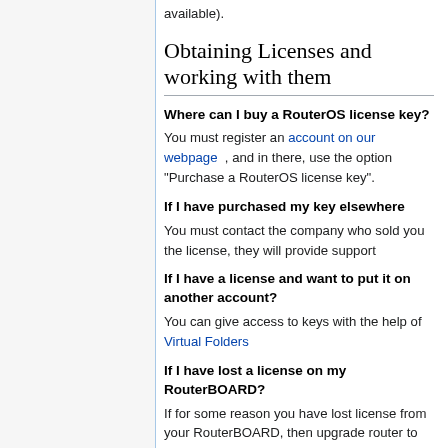available).
Obtaining Licenses and working with them
Where can I buy a RouterOS license key?
You must register an account on our webpage , and in there, use the option "Purchase a RouterOS license key".
If I have purchased my key elsewhere
You must contact the company who sold you the license, they will provide support
If I have a license and want to put it on another account?
You can give access to keys with the help of Virtual Folders
If I have lost a license on my RouterBOARD?
If for some reason you have lost license from your RouterBOARD, then upgrade router to